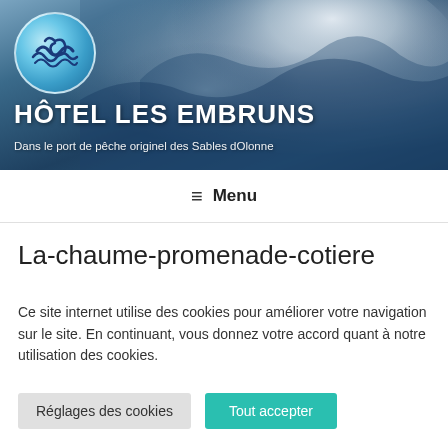[Figure (photo): Hotel Les Embruns header banner with ocean wave background and circular logo with wave icon]
HÔTEL LES EMBRUNS
Dans le port de pêche originel des Sables dOlonne
≡ Menu
La-chaume-promenade-cotiere
Ce site internet utilise des cookies pour améliorer votre navigation sur le site. En continuant, vous donnez votre accord quant à notre utilisation des cookies.
Réglages des cookies
Tout accepter